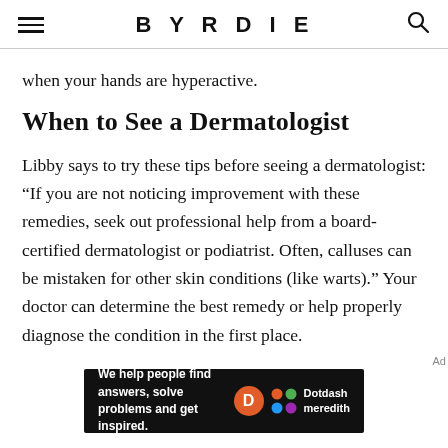BYRDIE
when your hands are hyperactive.
When to See a Dermatologist
Libby says to try these tips before seeing a dermatologist: “If you are not noticing improvement with these remedies, seek out professional help from a board-certified dermatologist or podiatrist. Often, calluses can be mistaken for other skin conditions (like warts).” Your doctor can determine the best remedy or help properly diagnose the condition in the first place.
[Figure (other): Dotdash Meredith advertisement banner with text: We help people find answers, solve problems and get inspired.]